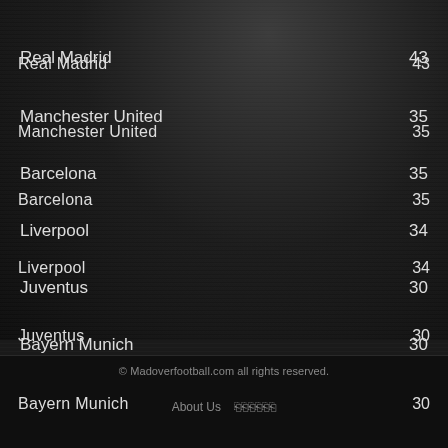Real Madrid 43
Manchester United 35
Barcelona 35
Liverpool 34
Juventus 30
Bayern Munich 30
Tottenham 29
Manchester City 29
Hotspur 23
Cristiano Ronaldo 10
© Madoverfootball.com all rights reserved.
About Us  🔗🔗🔗🔗🔗🔗